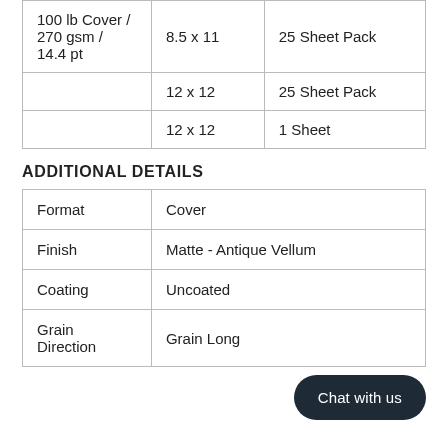| Weight | Size | Pack |
| --- | --- | --- |
| 100 lb Cover / 270 gsm / 14.4 pt | 8.5 x 11 | 25 Sheet Pack |
|  | 12 x 12 | 25 Sheet Pack |
|  | 12 x 12 | 1 Sheet |
ADDITIONAL DETAILS
| Property | Value |
| --- | --- |
| Format | Cover |
| Finish | Matte - Antique Vellum |
| Coating | Uncoated |
| Grain Direction | Grain Long |